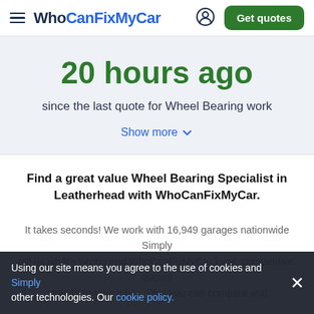WhoCanFixMyCar — Get quotes
20 hours ago
since the last quote for Wheel Bearing work
Show more
Find a great value Wheel Bearing Specialist in Leatherhead with WhoCanFixMyCar.
It takes seconds! We work with 16,949 garages nationwide Simply tell us what's wrong and WhoCanFixMyCar local, competitive, quotes straight to your inbox. Plus you can compare and
Using our site means you agree to the use of cookies and other technologies. Our cookie policy.